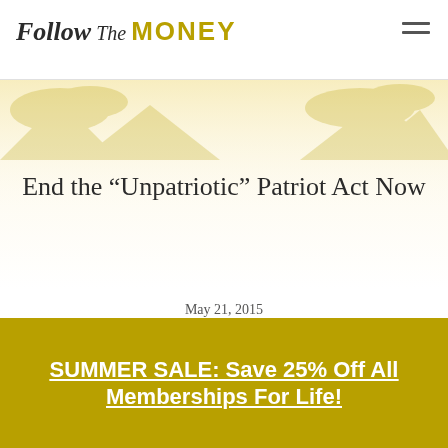Follow The MONEY
End the “Unpatriotic” Patriot Act Now
May 21, 2015
SHARE
[Figure (infographic): Three social share buttons: Facebook (f), LinkedIn (in), Twitter (bird icon), dark gray squares with gold icons]
[Figure (illustration): Gold illustrated mountain and tree landscape background]
SUMMER SALE: Save 25% Off All Memberships For Life!